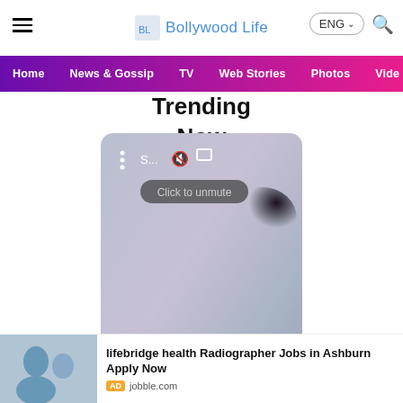Bollywood Life
Home  News & Gossip  TV  Web Stories  Photos  Video
Trending Now
[Figure (screenshot): A video player card with controls (dots, S..., mute icon, expand icon), 'Click to unmute' overlay button, a blurred/gradient background, a next arrow button, and a 'See More' blue button at the bottom.]
lifebridge health Radiographer Jobs in Ashburn Apply Now
AD jobble.com